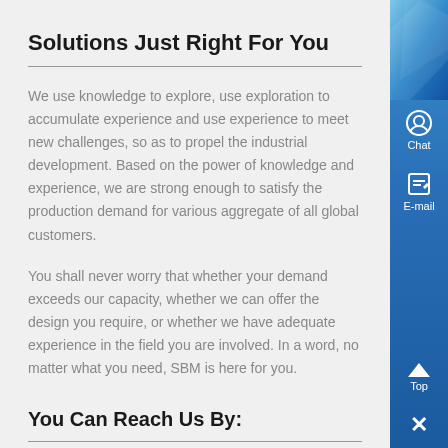Solutions Just Right For You
We use knowledge to explore, use exploration to accumulate experience and use experience to meet new challenges, so as to propel the industrial development. Based on the power of knowledge and experience, we are strong enough to satisfy the production demand for various aggregate of all global customers.
You shall never worry that whether your demand exceeds our capacity, whether we can offer the design you require, or whether we have adequate experience in the field you are involved. In a word, no matter what you need, SBM is here for you.
You Can Reach Us By:
Email : service@indh.net
Address : Pudong New Area, Shanghai
Phone : 021-58386666